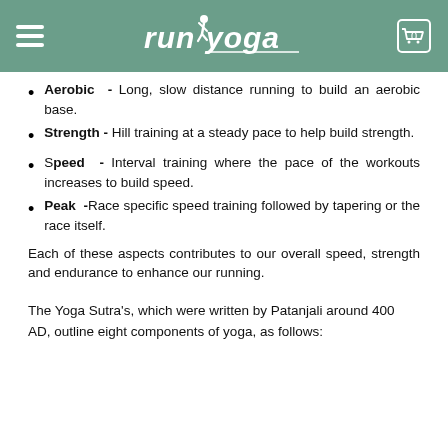RunYoga
Aerobic - Long, slow distance running to build an aerobic base.
Strength - Hill training at a steady pace to help build strength.
Speed - Interval training where the pace of the workouts increases to build speed.
Peak - Race specific speed training followed by tapering or the race itself.
Each of these aspects contributes to our overall speed, strength and endurance to enhance our running.
The Yoga Sutra's, which were written by Patanjali around 400 AD, outline eight components of yoga, as follows: